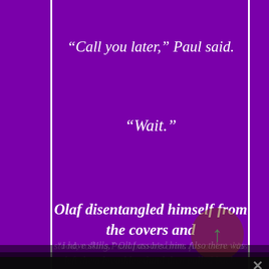“Call you later,” Paul said.
“Wait.”
Olaf disentangled himself from the covers and stood, pulling Paul into his arms for a slow kiss that left them both breathless, and then pulled back.
“Wow,” Paul murmured. “You managed to do that without opening your eyes. How did you...
w...
“I have skills,” Olaf assured him. Also there was
Our Site uses cookies to help it function properly and to record unique visitors.

The data is strictly for functional and visit counts only and will not be shared with any third party.
› Privacy Preferences
I Agree